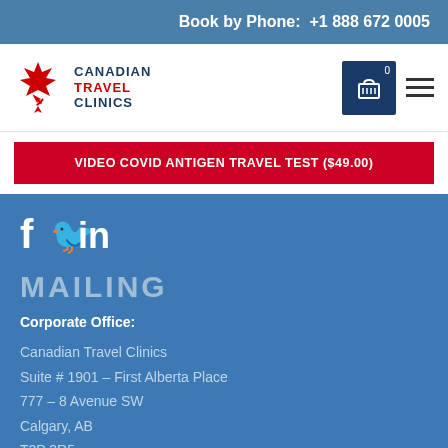Book by Phone:  +1 888 672 0005
[Figure (logo): Canadian Travel Clinics logo with maple leaf and airplane icon]
VIDEO COVID ANTIGEN TRAVEL TEST ($49.00)
[Figure (infographic): Social media icons: Facebook, Twitter, LinkedIn]
MAILING
Corporate Office:
Canadian Travel Clinics
Suite # 1901 - First Alberta Place
777 - 8 Avenue SW
Calgary, AB
T2P 3R5
+1 888 672 0005